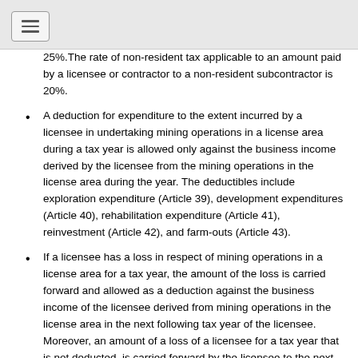25%.The rate of non-resident tax applicable to an amount paid by a licensee or contractor to a non-resident subcontractor is 20%.
A deduction for expenditure to the extent incurred by a licensee in undertaking mining operations in a license area during a tax year is allowed only against the business income derived by the licensee from the mining operations in the license area during the year. The deductibles include exploration expenditure (Article 39), development expenditures (Article 40), rehabilitation expenditure (Article 41), reinvestment (Article 42), and farm-outs (Article 43).
If a licensee has a loss in respect of mining operations in a license area for a tax year, the amount of the loss is carried forward and allowed as a deduction against the business income of the licensee derived from mining operations in the license area in the next following tax year of the licensee. Moreover, an amount of a loss of a licensee for a tax year that is not deducted, is carried forward by the licensee to the next following tax year and deductible in that year, and so on until the loss is fully deducted, provided however that the licensee can't carry forward a loss sustained in a tax year beyond ten years from the end of the tax year in which the loss was sustained.
Exemptions on mining income tax is stipulated under Schedule “E” of the income tax proclamation (See Article 65 of the Proclamation).